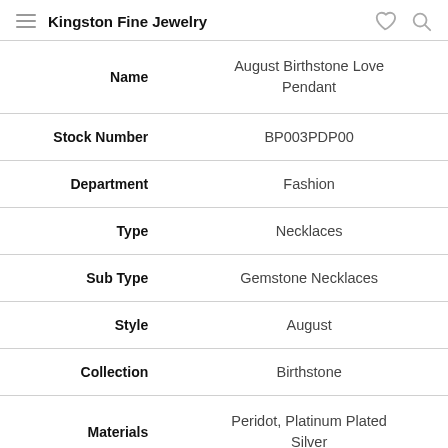Kingston Fine Jewelry
| Field | Value |
| --- | --- |
| Name | August Birthstone Love Pendant |
| Stock Number | BP003PDP00 |
| Department | Fashion |
| Type | Necklaces |
| Sub Type | Gemstone Necklaces |
| Style | August |
| Collection | Birthstone |
| Materials | Peridot, Platinum Plated Silver |